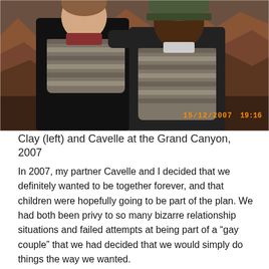[Figure (photo): Two men standing together at the Grand Canyon in winter clothing. The man on the left is wearing a dark sweater and striped scarf. The man on the right is wearing a green beanie hat and a striped scarf. A timestamp reads 15/12/2007 19:16 in orange text.]
Clay (left) and Cavelle at the Grand Canyon, 2007
In 2007, my partner Cavelle and I decided that we definitely wanted to be together forever, and that children were hopefully going to be part of the plan. We had both been privy to so many bizarre relationship situations and failed attempts at being part of a “gay couple” that we had decided that we would simply do things the way we wanted.